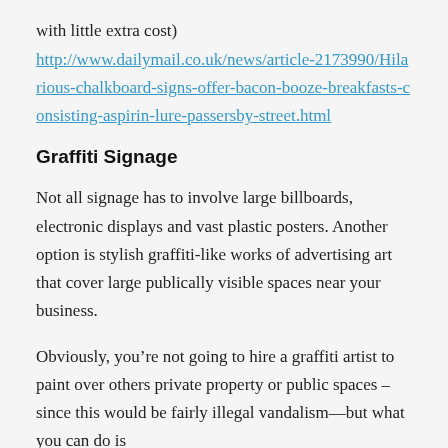with little extra cost)
http://www.dailymail.co.uk/news/article-2173990/Hilarious-chalkboard-signs-offer-bacon-booze-breakfasts-consisting-aspirin-lure-passersby-street.html
Graffiti Signage
Not all signage has to involve large billboards, electronic displays and vast plastic posters. Another option is stylish graffiti-like works of advertising art that cover large publically visible spaces near your business.
Obviously, you’re not going to hire a graffiti artist to paint over others private property or public spaces –since this would be fairly illegal vandalism—but what you can do is